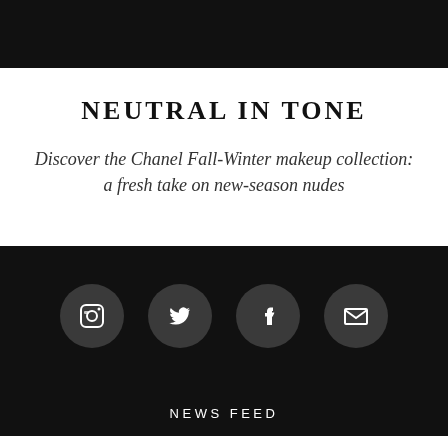[Figure (photo): Dark top banner image area]
NEUTRAL IN TONE
Discover the Chanel Fall-Winter makeup collection: a fresh take on new-season nudes
[Figure (infographic): Four social media icon circles on black background: Instagram, Twitter, Facebook, Email]
NEWS FEED